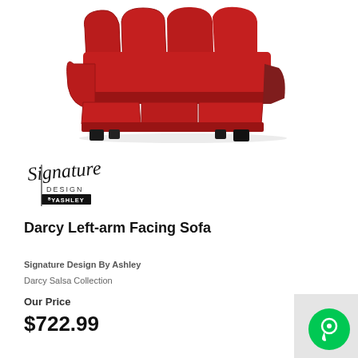[Figure (photo): Red upholstered three-seat sofa with rolled arms and three back cushions, dark wooden legs, Darcy Left-arm Facing Sofa by Signature Design by Ashley]
[Figure (logo): Signature Design by Ashley logo in cursive and sans-serif text]
Darcy Left-arm Facing Sofa
Signature Design By Ashley
Darcy Salsa Collection
Our Price
$722.99